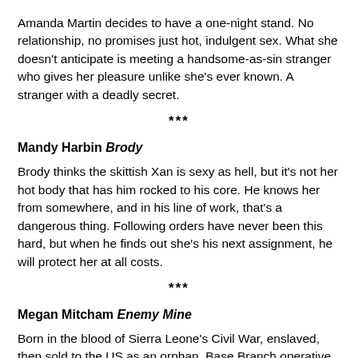Amanda Martin decides to have a one-night stand. No relationship, no promises just hot, indulgent sex. What she doesn't anticipate is meeting a handsome-as-sin stranger who gives her pleasure unlike she's ever known. A stranger with a deadly secret.
***
Mandy Harbin Brody
Brody thinks the skittish Xan is sexy as hell, but it's not her hot body that has him rocked to his core. He knows her from somewhere, and in his line of work, that's a dangerous thing. Following orders have never been this hard, but when he finds out she's his next assignment, he will protect her at all costs.
***
Megan Mitcham Enemy Mine
Born in the blood of Sierra Leone's Civil War, enslaved, then sold to the US as an orphan, Base Branch operative Sloan